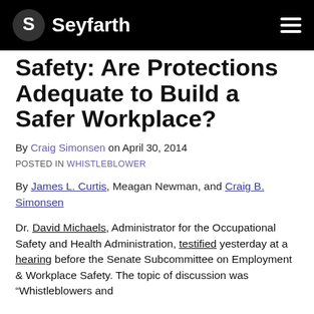Seyfarth
Safety: Are Protections Adequate to Build a Safer Workplace?
By Craig Simonsen on April 30, 2014
POSTED IN WHISTLEBLOWER
By James L. Curtis, Meagan Newman, and Craig B. Simonsen
Dr. David Michaels, Administrator for the Occupational Safety and Health Administration, testified yesterday at a hearing before the Senate Subcommittee on Employment & Workplace Safety. The topic of discussion was "Whistleblowers and